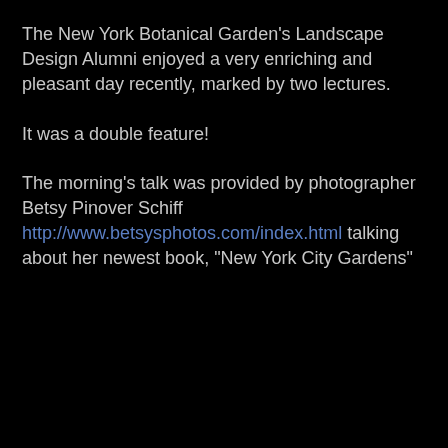The New York Botanical Garden’s Landscape Design Alumni enjoyed a very enriching and pleasant day recently, marked by two lectures.
It was a double feature!
The morning’s talk was provided by photographer Betsy Pinover Schiff http://www.betsysphotos.com/index.html talking about her newest book, “New York City Gardens”